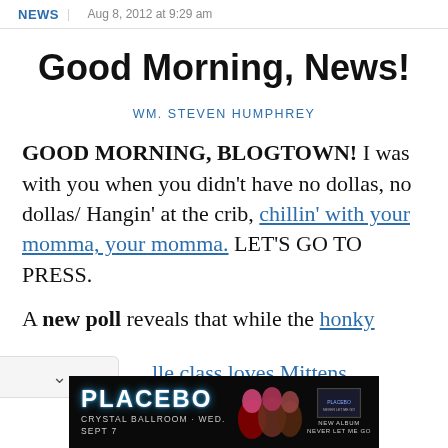NEWS | Aug 8, 2012 at 9:29 am
Good Morning, News!
WM. STEVEN HUMPHREY
GOOD MORNING, BLOGTOWN! I was with you when you didn't have no dollas, no dollas/ Hangin' at the crib, chillin' with your momma, your momma. LET'S GO TO PRESS.
A new poll reveals that while the honky lle class loves Mittens Romney, women
[Figure (photo): Advertisement for Placebo at Crystal Ballroom, Wed. Sept 7, with new album Never Let Me Go. Shows band members' faces on dark background.]